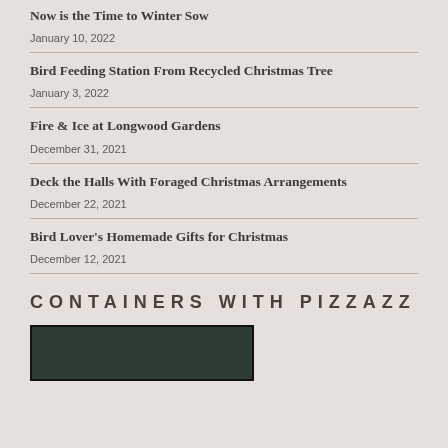Now is the Time to Winter Sow
January 10, 2022
Bird Feeding Station From Recycled Christmas Tree
January 3, 2022
Fire & Ice at Longwood Gardens
December 31, 2021
Deck the Halls With Foraged Christmas Arrangements
December 22, 2021
Bird Lover's Homemade Gifts for Christmas
December 12, 2021
CONTAINERS WITH PIZZAZZ
[Figure (photo): Partial view of a container garden photo with green foliage on dark background]